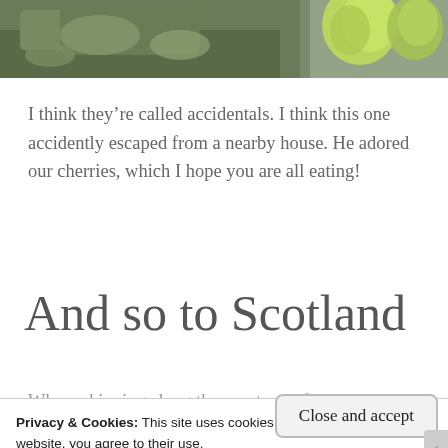[Figure (photo): Partial photo of mossy rock with green foliage/fruit visible, cropped at top of page]
I think they’re called accidentals. I think this one accidently escaped from a nearby house. He adored our cherries, which I hope you are all eating!
And so to Scotland
Where skipping along the coast path from
Privacy & Cookies: This site uses cookies. By continuing to use this website, you agree to their use.
To find out more, including how to control cookies, see here: Cookie Policy
Close and accept